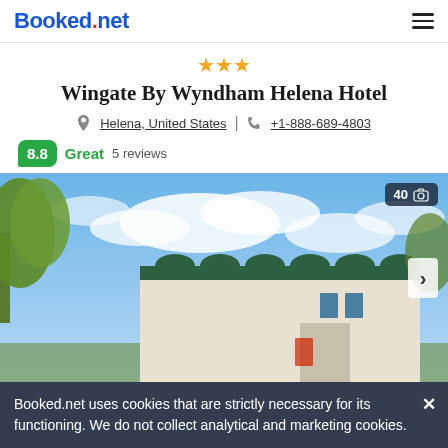Booked.net
Wingate By Wyndham Helena Hotel
Helena, United States | +1-888-689-4803
8.8 Great 5 reviews
[Figure (photo): Exterior photo of Wingate By Wyndham Helena Hotel showing a beige building with dark green roof trim, surrounded by trees under a partly cloudy blue sky. A photo count badge showing '40' with a camera icon appears in the top right corner.]
Booked.net uses cookies that are strictly necessary for its functioning. We do not collect analytical and marketing cookies.